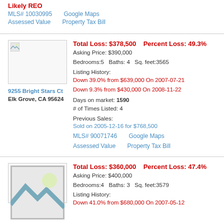Likely REO
MLS# 10030995   Google Maps
Assessed Value   Property Tax Bill
Total Loss: $378,500    Percent Loss: 49.3%
Asking Price: $390,000
Bedrooms:5   Baths: 4   Sq. feet:3565
Listing History:
Down 39.0% from $639,000 On 2007-07-21
Down 9.3% from $430,000 On 2008-11-22
Days on market: 1590
# of Times Listed: 4
Previous Sales:
Sold on 2005-12-16 for $768,500
MLS# 90071746   Google Maps
Assessed Value   Property Tax Bill
9255 Bright Stars Ct
Elk Grove, CA 95624
Total Loss: $360,000    Percent Loss: 47.4%
Asking Price: $400,000
Bedrooms:4   Baths: 3   Sq. feet:3579
Listing History:
Down 41.0% from $680,000 On 2007-05-12